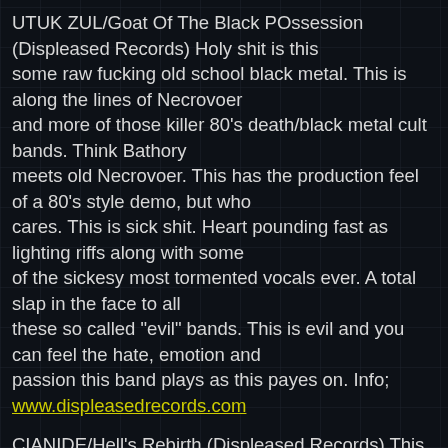UTUK ZUL/Goat Of The Black POssession (Displeased Records) Holy shit is this some raw fucking old school black metal. This is along the lines of Necrovoer and more of those killer 80's death/black metal cult bands. Think Bathory meets old Necrovoer. This has the production feel of a 80's style demo, but who cares. This is sick shit. Heart pounding fast as lighting riffs along with some of the sickesy most tormented vocals ever. A total slap in the face to all these so called "evil" bands. This is evil and you can feel the hate, emotion and passion this band plays as this payes on. Info; www.displeasedrecords.com
CIANIDE/Hell's Rebirth (Displeased Records) This band has been around for awahile starting off as a doom metal band, but that was many moons ago. The band